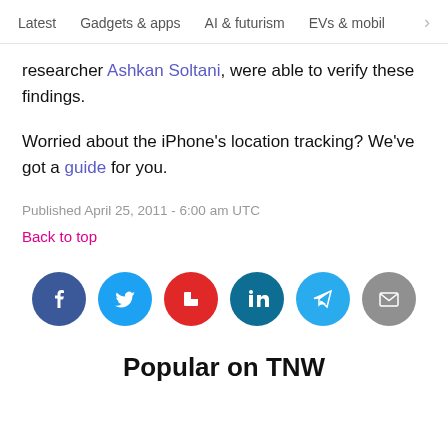Latest   Gadgets & apps   AI & futurism   EVs & mobil >
researcher Ashkan Soltani, were able to verify these findings.
Worried about the iPhone's location tracking? We've got a guide for you.
Published April 25, 2011 - 6:00 am UTC
Back to top
[Figure (infographic): Social sharing buttons: Facebook, Twitter, Flipboard, LinkedIn, Telegram, Email]
Popular on TNW